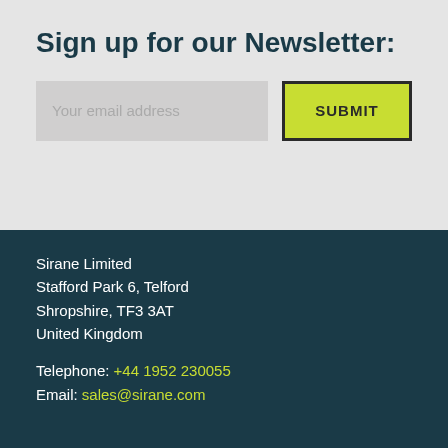Sign up for our Newsletter:
[Figure (other): Newsletter signup form with email input field and SUBMIT button]
Sirane Limited
Stafford Park 6, Telford
Shropshire, TF3 3AT
United Kingdom
Telephone: +44 1952 230055
Email: sales@sirane.com